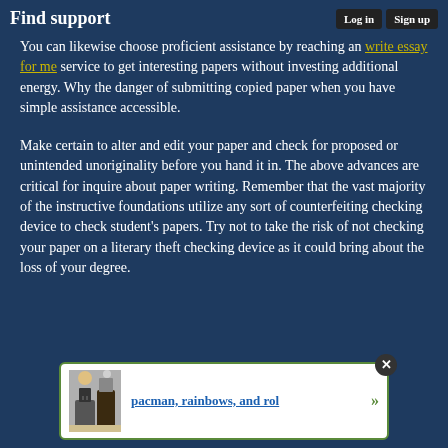Find support | Log in | Sign up
You can likewise choose proficient assistance by reaching an write essay for me service to get interesting papers without investing additional energy. Why the danger of submitting copied paper when you have simple assistance accessible.
Make certain to alter and edit your paper and check for proposed or unintended unoriginality before you hand it in. The above advances are critical for inquire about paper writing. Remember that the vast majority of the instructive foundations utilize any sort of counterfeiting checking device to check student's papers. Try not to take the risk of not checking your paper on a literary theft checking device as it could bring about the loss of your degree.
[Figure (other): Advertisement popup with close button showing 'pacman, rainbows, and rol' link with a small image thumbnail]